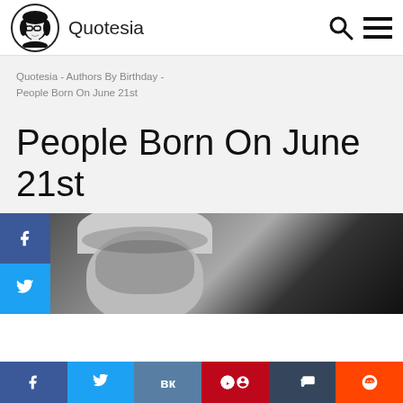Quotesia
Quotesia - Authors By Birthday - People Born On June 21st
People Born On June 21st
[Figure (photo): Black and white photo of an elderly man, partially visible, with social media share buttons (Facebook blue, Twitter blue) overlaid on the left side.]
f  t  vk  p  t  reddit — social share bar